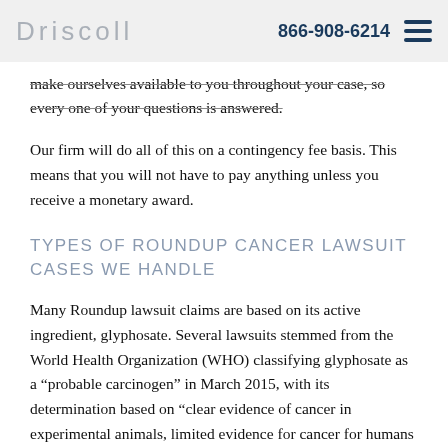Driscoll   866-908-6214
make ourselves available to you throughout your case, so every one of your questions is answered.
Our firm will do all of this on a contingency fee basis. This means that you will not have to pay anything unless you receive a monetary award.
TYPES OF ROUNDUP CANCER LAWSUIT CASES WE HANDLE
Many Roundup lawsuit claims are based on its active ingredient, glyphosate. Several lawsuits stemmed from the World Health Organization (WHO) classifying glyphosate as a "probable carcinogen" in March 2015, with its determination based on "clear evidence of cancer in experimental animals, limited evidence for cancer for humans from real-world exposures, of exposed farmers, and also strong evidence that it can damage the genes and other toxicological studies."